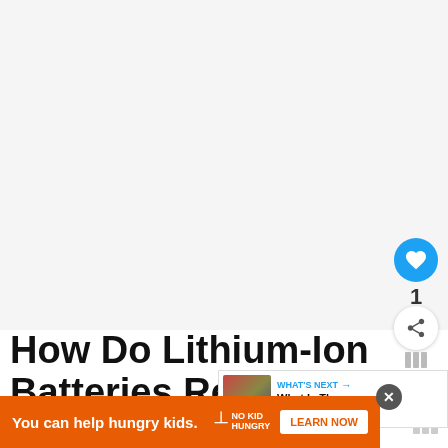[Figure (photo): Large light gray/white area representing an image placeholder or background at the top of the article page]
How Do Lithium-Ion Batteries React in Hot Temperatures?
[Figure (infographic): UI overlay elements: like button (blue circle with heart icon), count '1', share button (circle with share icon), bookmark/bar icons]
[Figure (screenshot): WHAT'S NEXT panel with thumbnail and text: 'What Is The Electrolyte I...']
[Figure (infographic): Orange advertisement banner: 'You can help hungry kids.' with No Kid Hungry logo and LEARN NOW button]